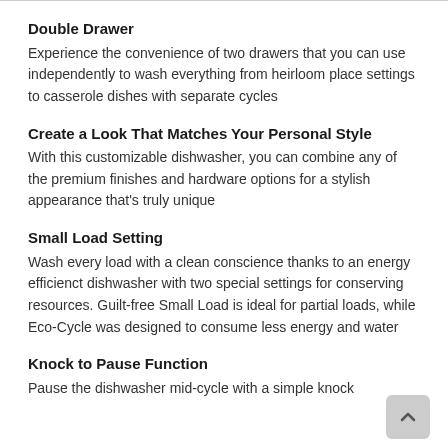Double Drawer
Experience the convenience of two drawers that you can use independently to wash everything from heirloom place settings to casserole dishes with separate cycles
Create a Look That Matches Your Personal Style
With this customizable dishwasher, you can combine any of the premium finishes and hardware options for a stylish appearance that’s truly unique
Small Load Setting
Wash every load with a clean conscience thanks to an energy efficienct dishwasher with two special settings for conserving resources. Guilt-free Small Load is ideal for partial loads, while Eco-Cycle was designed to consume less energy and water
Knock to Pause Function
Pause the dishwasher mid-cycle with a simple knock